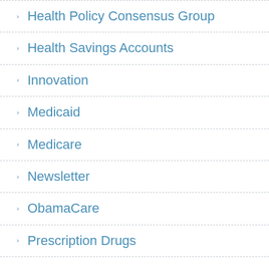Health Policy Consensus Group
Health Savings Accounts
Innovation
Medicaid
Medicare
Newsletter
ObamaCare
Prescription Drugs